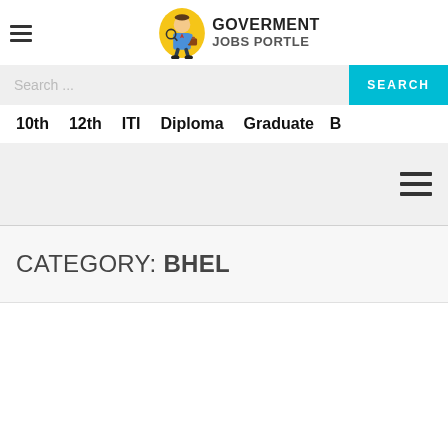GOVERMENT JOBS PORTLE
Search ...
SEARCH
10th   12th   ITI   Diploma   Graduate   B
CATEGORY: BHEL